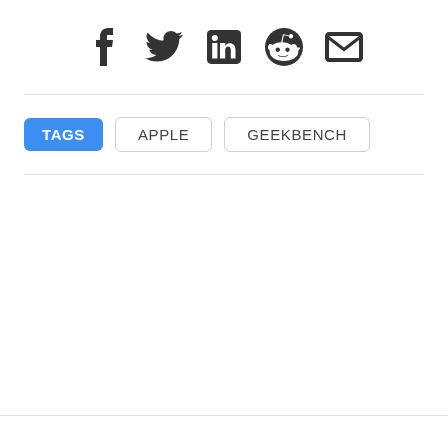[Figure (illustration): Social media share icons: Facebook (f), Twitter (bird), LinkedIn (in), Reddit (alien), Email (envelope) displayed horizontally centered]
TAGS  APPLE  GEEKBENCH